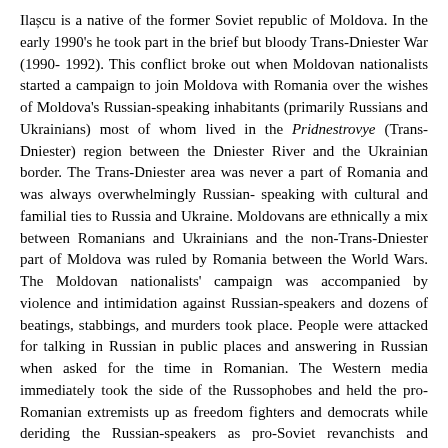Ilașcu is a native of the former Soviet republic of Moldova. In the early 1990's he took part in the brief but bloody Trans-Dniester War (1990-1992). This conflict broke out when Moldovan nationalists started a campaign to join Moldova with Romania over the wishes of Moldova's Russian-speaking inhabitants (primarily Russians and Ukrainians) most of whom lived in the Pridnestrovye (Trans-Dniester) region between the Dniester River and the Ukrainian border. The Trans-Dniester area was never a part of Romania and was always overwhelmingly Russian-speaking with cultural and familial ties to Russia and Ukraine. Moldovans are ethnically a mix between Romanians and Ukrainians and the non-Trans-Dniester part of Moldova was ruled by Romania between the World Wars. The Moldovan nationalists' campaign was accompanied by violence and intimidation against Russian-speakers and dozens of beatings, stabbings, and murders took place. People were attacked for talking in Russian in public places and answering in Russian when asked for the time in Romanian. The Western media immediately took the side of the Russophobes and held the pro-Romanian extremists up as freedom fighters and democrats while deriding the Russian-speakers as pro-Soviet revanchists and Stalinists.
In response, Trans-Dniester declared independence following the example of Abkhazia and South Ossetia (two other regions that were threatened by a pro-Western regime). Since the majority of Moldova's industry was located in the now independent Trans-Dniester, the anti-Russian government rushed in paramilitaries to quash the breakaway